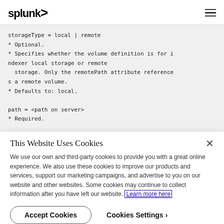splunk>
storageType = local | remote
* Optional.
* Specifies whether the volume definition is for indexer local storage or remote storage. Only the remotePath attribute references a remote volume.
* Defaults to: local.

path = <path on server>
* Required.
This Website Uses Cookies
We use our own and third-party cookies to provide you with a great online experience. We also use these cookies to improve our products and services, support our marketing campaigns, and advertise to you on our website and other websites. Some cookies may continue to collect information after you have left our website. Learn more here
Accept Cookies   Cookies Settings ›